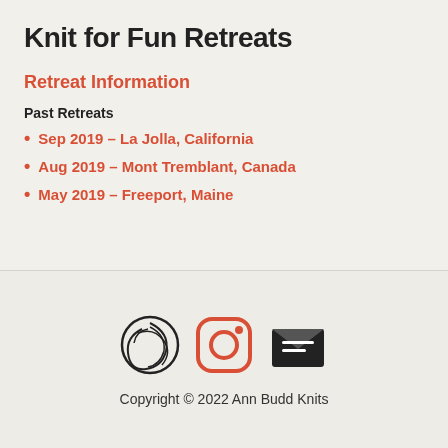Knit for Fun Retreats
Retreat Information
Past Retreats
Sep 2019 – La Jolla, California
Aug 2019 – Mont Tremblant, Canada
May 2019 – Freeport, Maine
[Figure (logo): Three social media icons: a stylized circular icon (website/brand), an Instagram icon (rounded square with circle and dot), and an email/envelope icon (black envelope with letter lines)]
Copyright © 2022 Ann Budd Knits